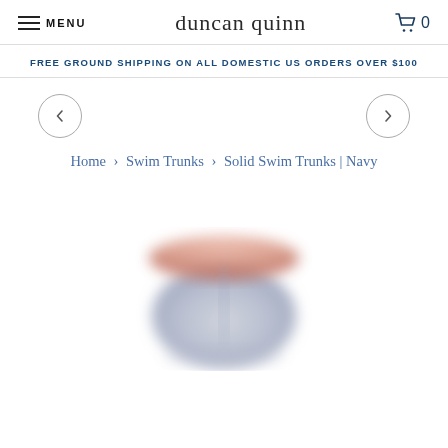MENU  duncan quinn  0
FREE GROUND SHIPPING ON ALL DOMESTIC US ORDERS OVER $100
[Figure (other): Left and right navigation arrow circles for product image carousel]
Home > Swim Trunks > Solid Swim Trunks | Navy
[Figure (photo): Blurred photo of navy solid swim trunks product, showing the garment from above on a white background]